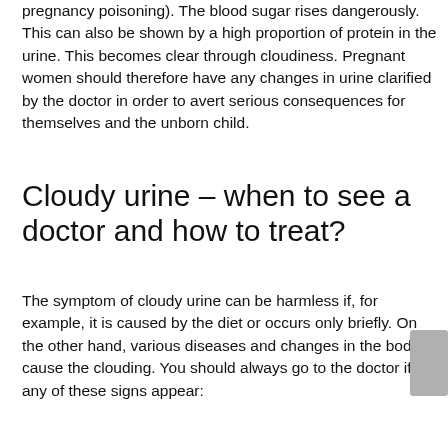pregnancy poisoning). The blood sugar rises dangerously. This can also be shown by a high proportion of protein in the urine. This becomes clear through cloudiness. Pregnant women should therefore have any changes in urine clarified by the doctor in order to avert serious consequences for themselves and the unborn child.
Cloudy urine – when to see a doctor and how to treat?
The symptom of cloudy urine can be harmless if, for example, it is caused by the diet or occurs only briefly. On the other hand, various diseases and changes in the body cause the clouding. You should always go to the doctor if any of these signs appear: